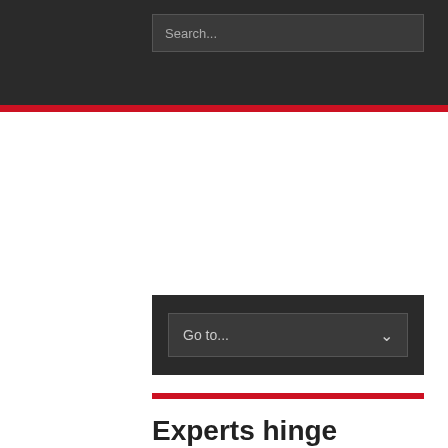Search...
Experts hinge economic performance on improved forex profile
The nation's improving economic indices, particularly the manufacturing and non-